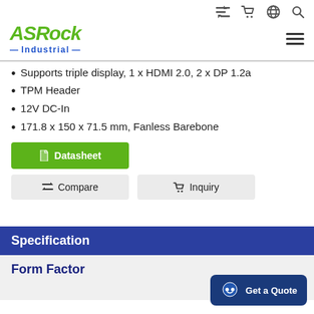[Figure (logo): ASRock Industrial logo with green ASRock text and blue Industrial subtitle, plus navigation icons (compare, cart, globe, search) in top right and hamburger menu]
Supports triple display, 1 x HDMI 2.0, 2 x DP 1.2a
TPM Header
12V DC-In
171.8 x 150 x 71.5 mm, Fanless Barebone
Datasheet button, Compare button, Inquiry button
Specification
Form Factor
Get a Quote